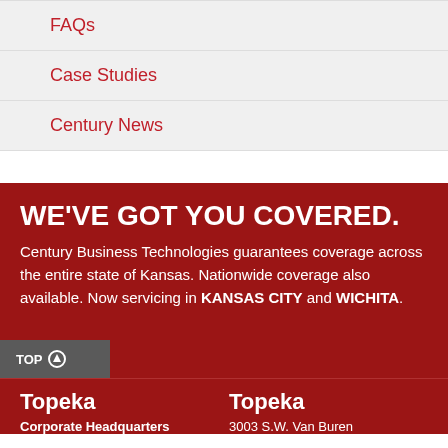FAQs
Case Studies
Century News
WE'VE GOT YOU COVERED.
Century Business Technologies guarantees coverage across the entire state of Kansas. Nationwide coverage also available. Now servicing in KANSAS CITY and WICHITA.
TOP
Topeka
Corporate Headquarters
Topeka
3003 S.W. Van Buren